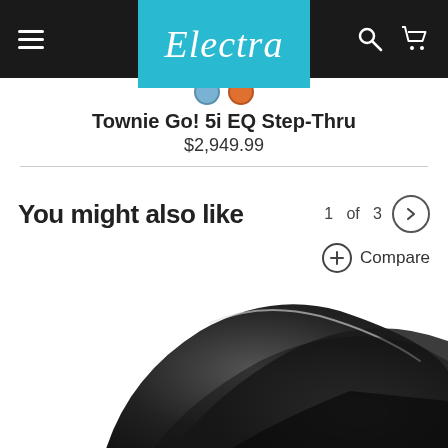Electra — navigation bar with hamburger menu, logo, search and cart icons
[Figure (screenshot): Two color swatches: blue and orange circles]
Townie Go! 5i EQ Step-Thru
$2,949.99
You might also like
1 of 3
Compare
[Figure (photo): A black fabric or cover draped over a bicycle product, partially obscured]